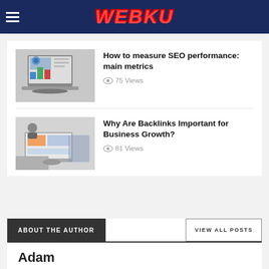WEBKU
How to measure SEO performance: main metrics
75 Views
Why Are Backlinks Important for Business Growth?
81 Views
ABOUT THE AUTHOR
VIEW ALL POSTS
Adam